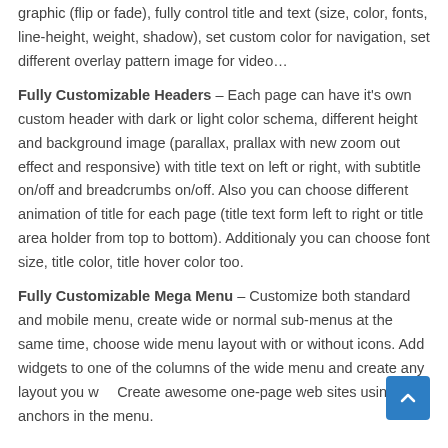graphic (flip or fade), fully control title and text (size, color, fonts, line-height, weight, shadow), set custom color for navigation, set different overlay pattern image for video…
Fully Customizable Headers – Each page can have it's own custom header with dark or light color schema, different height and background image (parallax, prallax with new zoom out effect and responsive) with title text on left or right, with subtitle on/off and breadcrumbs on/off. Also you can choose different animation of title for each page (title text form left to right or title area holder from top to bottom). Additionaly you can choose font size, title color, title hover color too.
Fully Customizable Mega Menu – Customize both standard and mobile menu, create wide or normal sub-menus at the same time, choose wide menu layout with or without icons. Add widgets to one of the columns of the wide menu and create any layout you w… Create awesome one-page web sites using anchors in the menu.